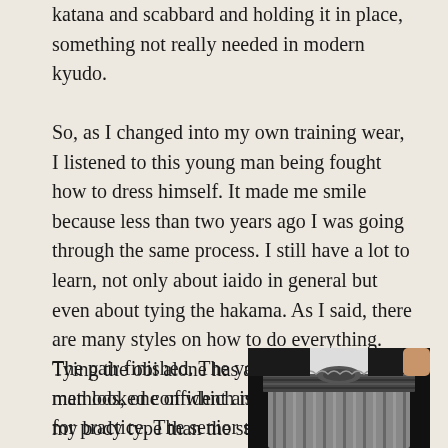katana and scabbard and holding it in place, something not really needed in modern kyudo.
So, as I changed into my own training wear, I listened to this young man being fought how to dress himself. It made me smile because less than two years ago I was going through the same process. I still have a lot to learn, not only about iaido in general but even about tying the hakama. As I said, there are many styles on how to do everything. Tying the obi alone has a variety of methods, one of which is probably better for my body type than the style I am currently using. Like all things the more we learn, the more we know we have yet to learn.
The pair finished. The young man looked confident and ready for practice. The senior student looked over his work and
[Figure (photo): Close-up photograph of a person wearing a traditional Japanese hakama (pleated trousers) with an obi belt tied at the waist, showing the detailed weave pattern and knot of the hakama waistband against a dark gi top.]